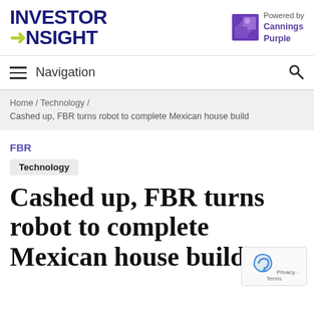INVESTOR INSIGHT — Powered by Cannings Purple
Navigation
Home / Technology / Cashed up, FBR turns robot to complete Mexican house build
FBR
Technology
Cashed up, FBR turns robot to complete Mexican house build